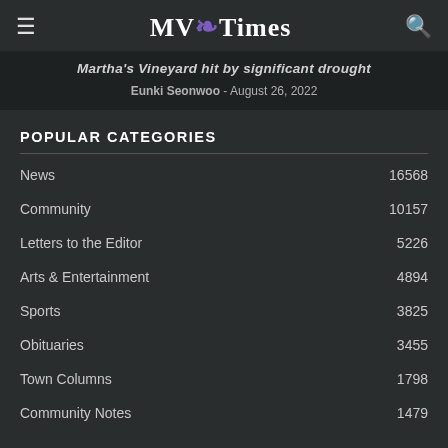MV Times
Martha's Vineyard hit by significant drought
Eunki Seonwoo - August 26, 2022
POPULAR CATEGORIES
News 16568
Community 10157
Letters to the Editor 5226
Arts & Entertainment 4894
Sports 3825
Obituaries 3455
Town Columns 1798
Community Notes 1479